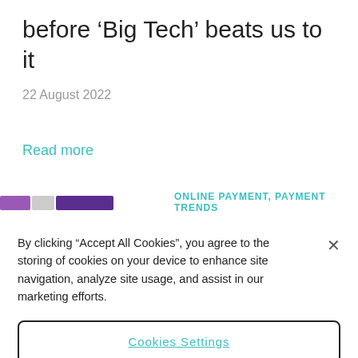before ‘Big Tech’ beats us to it
22 August 2022
Read more
ONLINE PAYMENT, PAYMENT TRENDS
By clicking “Accept All Cookies”, you agree to the storing of cookies on your device to enhance site navigation, analyze site usage, and assist in our marketing efforts.
Cookies Settings
Reject All
Accept All Cookies